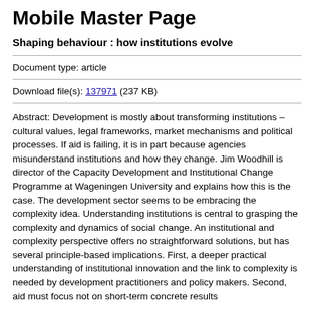Mobile Master Page
Shaping behaviour : how institutions evolve
Document type: article
Download file(s): 137971 (237 KB)
Abstract: Development is mostly about transforming institutions – cultural values, legal frameworks, market mechanisms and political processes. If aid is failing, it is in part because agencies misunderstand institutions and how they change. Jim Woodhill is director of the Capacity Development and Institutional Change Programme at Wageningen University and explains how this is the case. The development sector seems to be embracing the complexity idea. Understanding institutions is central to grasping the complexity and dynamics of social change. An institutional and complexity perspective offers no straightforward solutions, but has several principle-based implications. First, a deeper practical understanding of institutional innovation and the link to complexity is needed by development practitioners and policy makers. Second, aid must focus not on short-term concrete results